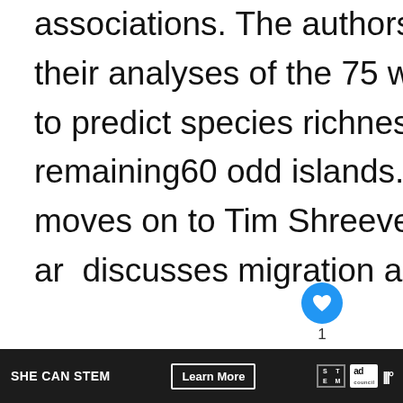associations. The authors use the data from their analyses of the 75 well surveyed islands to predict species richness on the remaining60 odd islands. The work then moves on to Tim Shreeve's area of expertise and discusses migration and colonisation.
[Figure (screenshot): UI overlay: heart/like button (blue circle, count=1), share button (grey circle), What's Next panel with thumbnail and text 'The 7 Kingdoms o...']
SHE CAN STEM  Learn More  [STEM icon] [ad council logo] [audio icon]